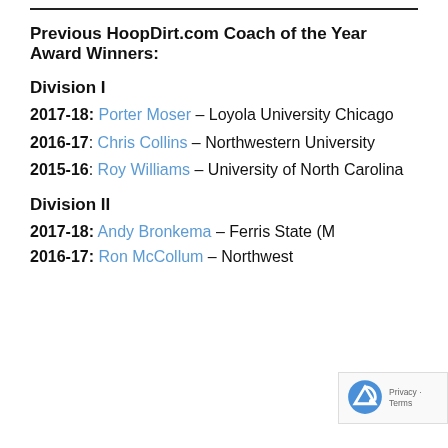Previous HoopDirt.com Coach of the Year Award Winners:
Division I
2017-18: Porter Moser – Loyola University Chicago
2016-17: Chris Collins – Northwestern University
2015-16: Roy Williams – University of North Carolina
Division II
2017-18: Andy Bronkema – Ferris State (M
2016-17: Ron McCollum – Northwest